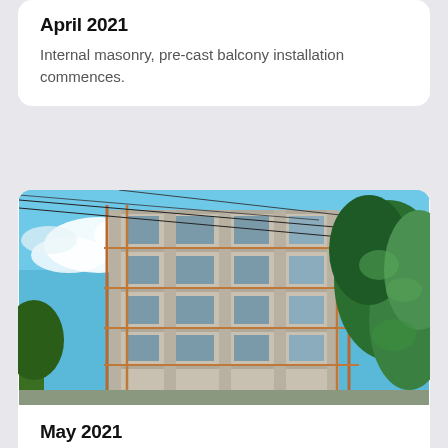April 2021
Internal masonry, pre-cast balcony installation commences.
[Figure (photo): Construction site photo showing a multi-storey building under construction with scaffolding, concrete frame, balconies being installed, utility wires overhead, blue sky with clouds, and green tree foliage in the foreground right.]
May 2021
Balcony facade progress on schedule.